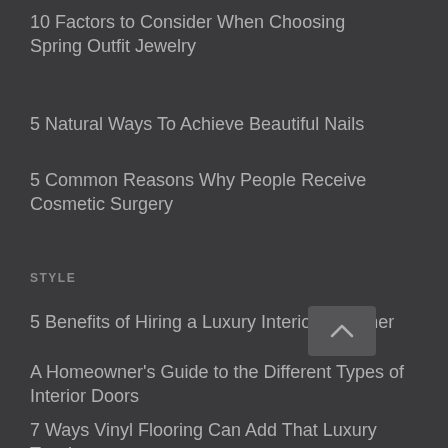10 Factors to Consider When Choosing Spring Outfit Jewelry
5 Natural Ways To Achieve Beautiful Nails
5 Common Reasons Why People Receive Cosmetic Surgery
STYLE
5 Benefits of Hiring a Luxury Interior Designer
A Homeowner's Guide to the Different Types of Interior Doors
7 Ways Vinyl Flooring Can Add That Luxury Touch